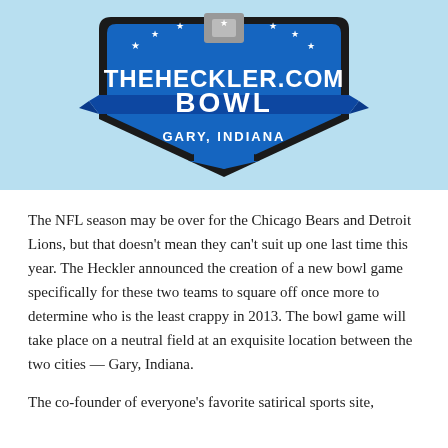[Figure (logo): TheHeckler.com Bowl - Gary, Indiana shield logo on light blue background]
The NFL season may be over for the Chicago Bears and Detroit Lions, but that doesn't mean they can't suit up one last time this year. The Heckler announced the creation of a new bowl game specifically for these two teams to square off once more to determine who is the least crappy in 2013. The bowl game will take place on a neutral field at an exquisite location between the two cities — Gary, Indiana.
The co-founder of everyone's favorite satirical sports site,